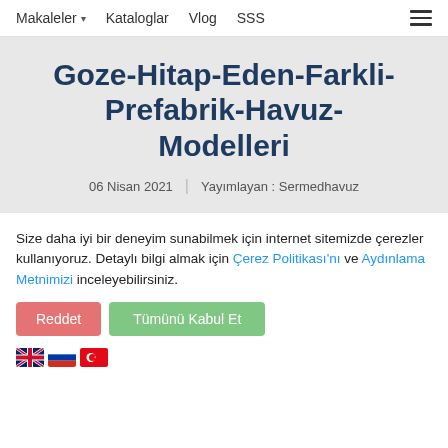Makaleler  Kataloglar  Vlog  SSS
Goze-Hitap-Eden-Farkli-Prefabrik-Havuz-Modelleri
06 Nisan 2021  |  Yayımlayan : Sermedhavuz
Size daha iyi bir deneyim sunabilmek için internet sitemizde çerezler kullanıyoruz. Detaylı bilgi almak için Çerez Politikası'nı ve Aydınlama Metnimizi inceleyebilirsiniz.
Reddet  Tümünü Kabul Et